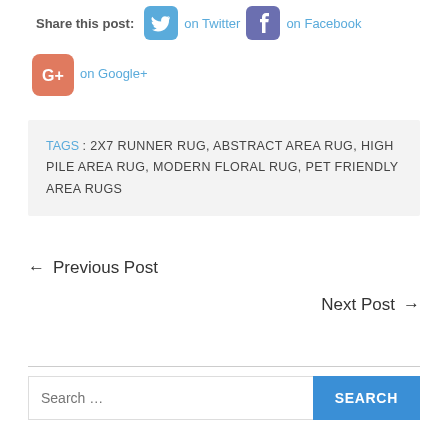Share this post: on Twitter on Facebook on Google+
TAGS : 2X7 RUNNER RUG, ABSTRACT AREA RUG, HIGH PILE AREA RUG, MODERN FLORAL RUG, PET FRIENDLY AREA RUGS
← Previous Post
Next Post →